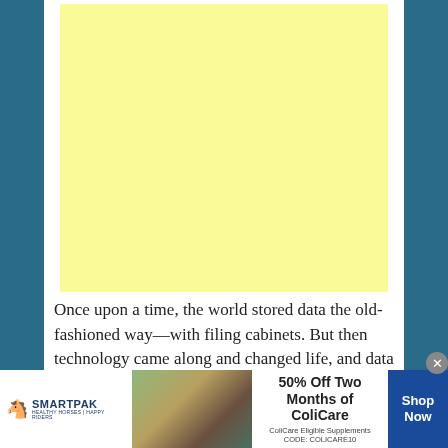[Figure (other): Large light yellow rectangle placeholder/advertisement area on white card background with teal/blue sidebar borders]
Once upon a time, the world stored data the old-fashioned way—with filing cabinets. But then technology came along and changed life, and data storage, as we
[Figure (other): SmartPak advertisement banner at the bottom. Shows SmartPak logo with horse on left, product image with a horse and rider in middle, and '50% Off Two Months of ColiCare, ColiCare Eligible Supplements, CODE: COLICARE10' promo text, with blue 'Shop Now' button on the right.]